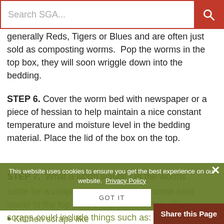Search SGA...
generally Reds, Tigers or Blues and are often just sold as composting worms.  Pop the worms in the top box, they will soon wriggle down into the bedding.
STEP 6. Cover the worm bed with newspaper or a piece of hessian to help maintain a nice constant temperature and moisture level in the bedding material. Place the lid of the box on the top.
STEP 7.  What a worm wants! Let the worms settle for a couple of days, then add some food waste to the top box, under the hessian.  These scraps could include things such as:
Kitchen scraps like
This website uses cookies to ensure you get the best experience on our website.  Privacy Policy
GOT IT
Share this Page